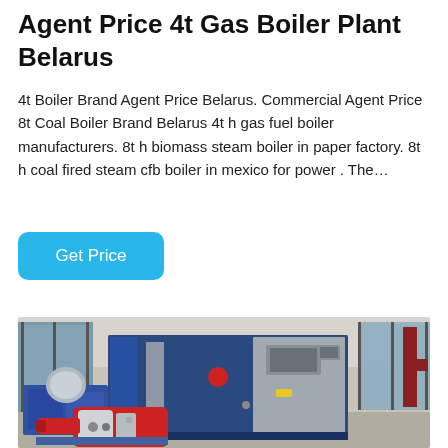Agent Price 4t Gas Boiler Plant Belarus
4t Boiler Brand Agent Price Belarus. Commercial Agent Price 8t Coal Boiler Brand Belarus 4t h gas fuel boiler manufacturers. 8t h biomass steam boiler in paper factory. 8t h coal fired steam cfb boiler in mexico for power . The…
Get Price
[Figure (photo): Industrial gas boiler plant unit — a large blue metal boiler cabinet with silver panels and control interfaces, a red-and-silver gas burner assembly in the foreground, set inside an industrial facility with concrete floors and large windows]